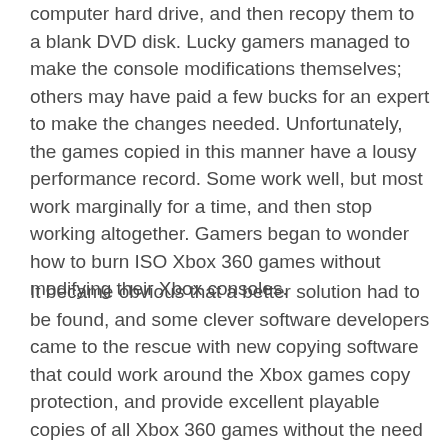computer hard drive, and then recopy them to a blank DVD disk. Lucky gamers managed to make the console modifications themselves; others may have paid a few bucks for an expert to make the changes needed. Unfortunately, the games copied in this manner have a lousy performance record. Some work well, but most work marginally for a time, and then stop working altogether. Gamers began to wonder how to burn ISO Xbox 360 games without modifying their Xbox consoles.
It became obvious that a better solution had to be found, and some clever software developers came to the rescue with new copying software that could work around the Xbox games copy protection, and provide excellent playable copies of all Xbox 360 games without the need to modify the Xbox system itself. All you need today for copying your Xbox 360 games are the few things listed below.
* A personal computer that meets the software requirements* A dual layer DVD burner* Your original copy